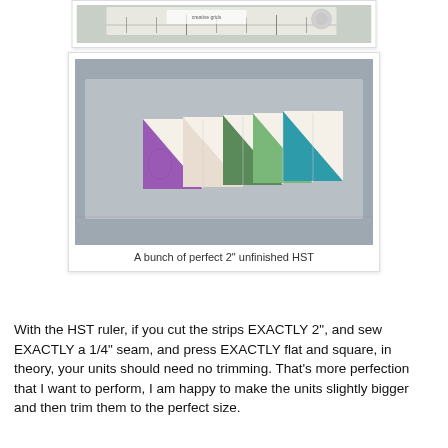[Figure (photo): Top portion of a photo showing a Creative Grids ruler on a cutting mat, partially visible at top of page]
[Figure (photo): Photo of several half-square triangle (HST) quilt units arranged in a row on a gray cutting mat. Units show colorful fabrics (purple, floral, green, teal) against cream/white fabric, fanned out to show multiple pieces.]
A bunch of perfect 2" unfinished HST
With the HST ruler, if you cut the strips EXACTLY 2", and sew EXACTLY a 1/4" seam, and press EXACTLY flat and square, in theory, your units should need no trimming. That's more perfection that I want to perform, I am happy to make the units slightly bigger and then trim them to the perfect size.